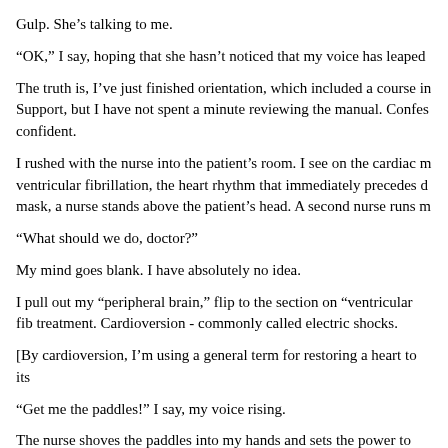Gulp. She’s talking to me.
“OK,” I say, hoping that she hasn’t noticed that my voice has leaped
The truth is, I’ve just finished orientation, which included a course in Support, but I have not spent a minute reviewing the manual. Confes confident.
I rushed with the nurse into the patient’s room. I see on the cardiac m ventricular fibrillation, the heart rhythm that immediately precedes d mask, a nurse stands above the patient’s head. A second nurse runs m
“What should we do, doctor?”
My mind goes blank. I have absolutely no idea.
I pull out my “peripheral brain,” flip to the section on “ventricular fib treatment. Cardioversion - commonly called electric shocks.
[By cardioversion, I’m using a general term for restoring a heart to its
“Get me the paddles!” I say, my voice rising.
The nurse shoves the paddles into my hands and sets the power to the
“Clear!” I yell, and place the paddles on the patient’s chest.